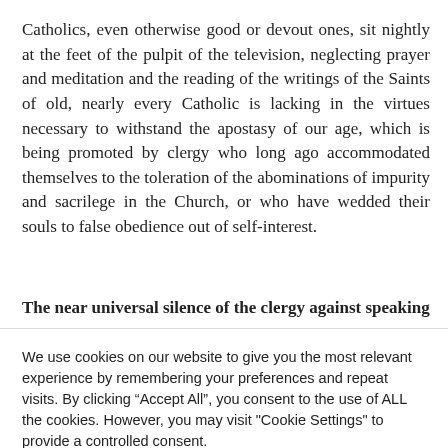Catholics, even otherwise good or devout ones, sit nightly at the feet of the pulpit of the television, neglecting prayer and meditation and the reading of the writings of the Saints of old, nearly every Catholic is lacking in the virtues necessary to withstand the apostasy of our age, which is being promoted by clergy who long ago accommodated themselves to the toleration of the abominations of impurity and sacrilege in the Church, or who have wedded their souls to false obedience out of self-interest.
The near universal silence of the clergy against speaking
We use cookies on our website to give you the most relevant experience by remembering your preferences and repeat visits. By clicking "Accept All", you consent to the use of ALL the cookies. However, you may visit "Cookie Settings" to provide a controlled consent.
Cookie Settings | Accept All